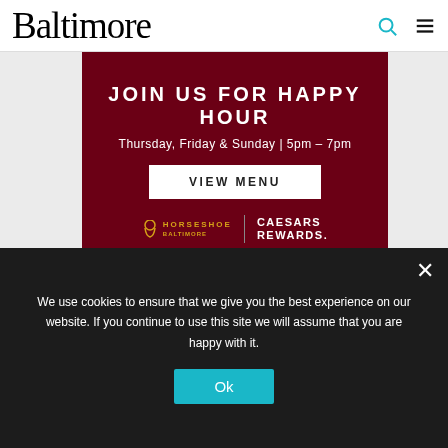Baltimore
[Figure (screenshot): Horseshoe Baltimore / Caesars Rewards advertisement for happy hour. Text reads: JOIN US FOR HAPPY HOUR, Thursday, Friday & Sunday | 5pm - 7pm, VIEW MENU button, Horseshoe Baltimore | Caesars Rewards logos.]
Join our Arts District newsletter list
Our editors are delivering the latest in local art, music,
We use cookies to ensure that we give you the best experience on our website. If you continue to use this site we will assume that you are happy with it.